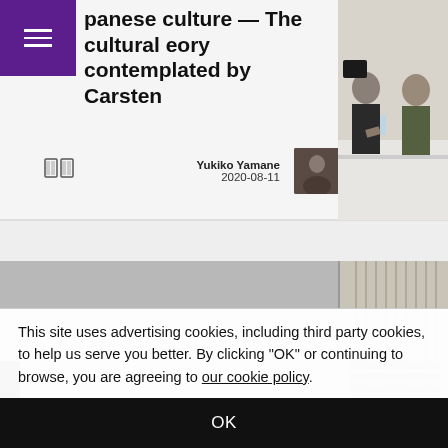panese culture — The cultural eory contemplated by Carsten
Yukiko Yamane
2020-08-11
[Figure (photo): Two men seated at a white table in conversation; one in dark clothing, one in an olive jacket; a monitor and water bottle visible on the table]
[Figure (photo): Two people photographed from behind/above in a gray room; partial view of another room with vertical blinds on the right]
This site uses advertising cookies, including third party cookies, to help us serve you better. By clicking "OK" or continuing to browse, you are agreeing to our cookie policy.
OK